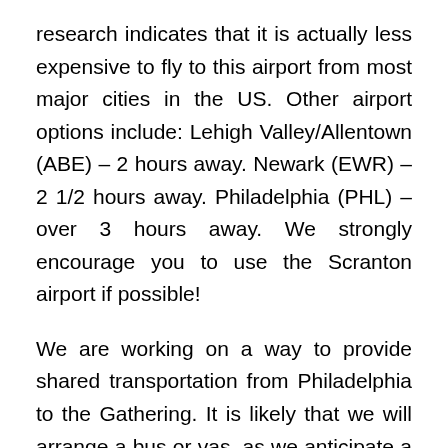research indicates that it is actually less expensive to fly to this airport from most major cities in the US. Other airport options include: Lehigh Valley/Allentown (ABE) – 2 hours away. Newark (EWR) – 2 1/2 hours away. Philadelphia (PHL) – over 3 hours away. We strongly encourage you to use the Scranton airport if possible!
We are working on a way to provide shared transportation from Philadelphia to the Gathering. It is likely that we will arrange a bus or vas, as we anticipate a large number of attendees from the Philadelphia area. If you are coming from the Philadelphia area, please be assured